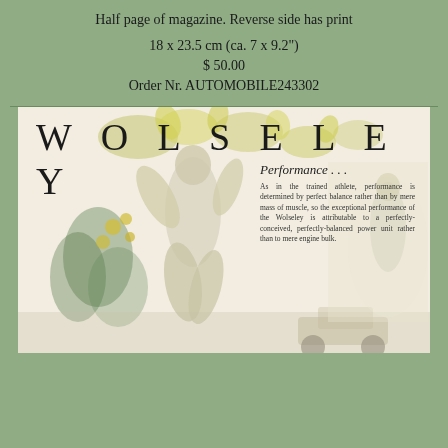Half page of magazine. Reverse side has print
18 x 23.5 cm (ca. 7 x 9.2")
$ 50.00
Order Nr. AUTOMOBILE243302
[Figure (illustration): Vintage Wolseley automobile advertisement showing a classical figure/athlete with yellow flowers and foliage, with text 'Performance...' and descriptive body copy about performance being determined by perfect balance rather than mere mass of muscle.]